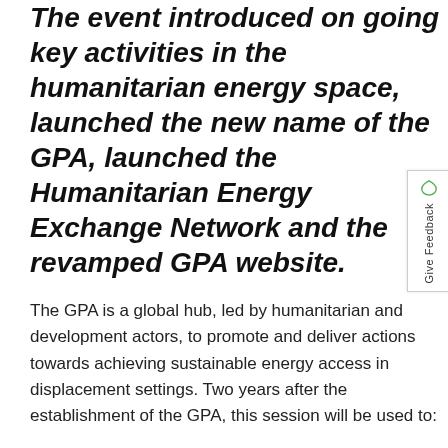The event introduced on going key activities in the humanitarian energy space, launched the new name of the GPA, launched the Humanitarian Energy Exchange Network and the revamped GPA website.
The GPA is a global hub, led by humanitarian and development actors, to promote and deliver actions towards achieving sustainable energy access in displacement settings. Two years after the establishment of the GPA, this session will be used to:
Take stock and provide an update on why energy is important
Present some best practice examples